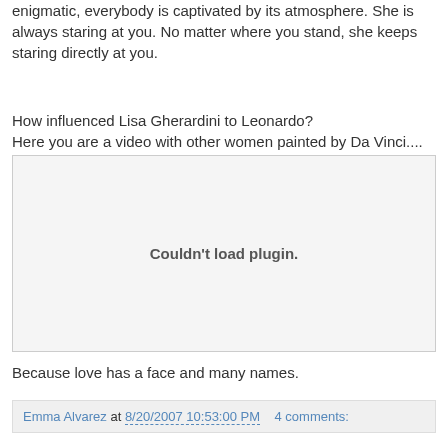enigmatic, everybody is captivated by its atmosphere. She is always staring at you. No matter where you stand, she keeps staring directly at you.
How influenced Lisa Gherardini to Leonardo?
Here you are a video with other women painted by Da Vinci.... All them are a little Gioconda.
[Figure (other): Couldn't load plugin. — embedded video plugin placeholder box]
Because love has a face and many names.
Emma Alvarez at 8/20/2007 10:53:00 PM   4 comments: